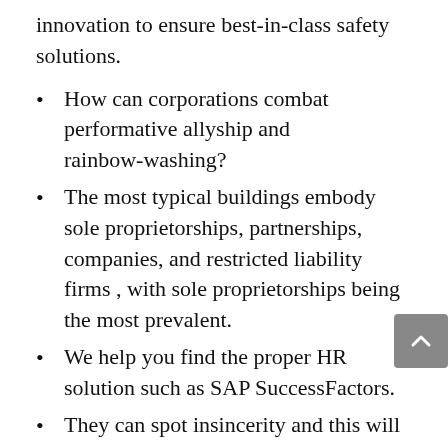innovation to ensure best-in-class safety solutions.
How can corporations combat performative allyship and rainbow-washing?
The most typical buildings embody sole proprietorships, partnerships, companies, and restricted liability firms , with sole proprietorships being the most prevalent.
We help you find the proper HR solution such as SAP SuccessFactors.
They can spot insincerity and this will price you potential workers.
Cox Business Cloud Solutions, powered by RapidScale Technology, can help any measurement business or organization handle securely, remotely and seamlessly with our robust managed cloud providers. Find comprehensive business support with professional printing, delivery, mailbox, and exclusive offers on the business services you want. Get concepts in a free virtual brainstorming session